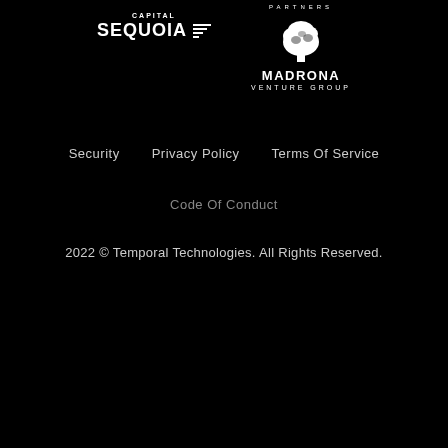[Figure (logo): Sequoia Capital logo with stylized horizontal lines]
[Figure (logo): Madrona Venture Group logo with tree illustration and PARTNERS text]
Security   Privacy Policy   Terms Of Service
Code Of Conduct
2022 © Temporal Technologies. All Rights Reserved.